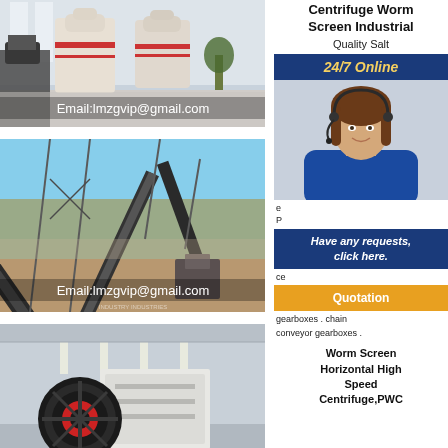[Figure (photo): Industrial mill machines inside a large factory building, with text overlay showing email address]
[Figure (photo): Outdoor industrial conveyor belt system and crushing plant, with text overlay showing email address]
[Figure (photo): Industrial jaw crusher machine inside a factory]
Centrifuge Worm Screen Industrial
Quality Salt
24/7 Online
[Figure (photo): Customer service agent woman with headset, blue uniform, smiling]
Have any requests, click here.
Quotation
gearboxes . chain conveyor gearboxes .
Worm Screen Horizontal High Speed Centrifuge,PWC